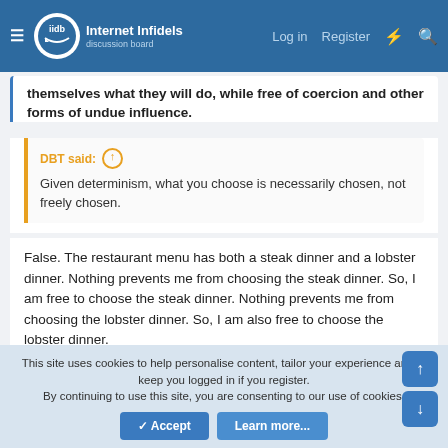Internet Infidels discussion board — Log in  Register
themselves what they will do, while free of coercion and other forms of undue influence.
DBT said: ↑
Given determinism, what you choose is necessarily chosen, not freely chosen.
False. The restaurant menu has both a steak dinner and a lobster dinner. Nothing prevents me from choosing the steak dinner. So, I am free to choose the steak dinner. Nothing prevents me from choosing the lobster dinner. So, I am also free to choose the lobster dinner.
Well, then you are not talking about determinism. If the world is determined, you choose Lobster because choosing Lobster is
This site uses cookies to help personalise content, tailor your experience and to keep you logged in if you register.
By continuing to use this site, you are consenting to our use of cookies.